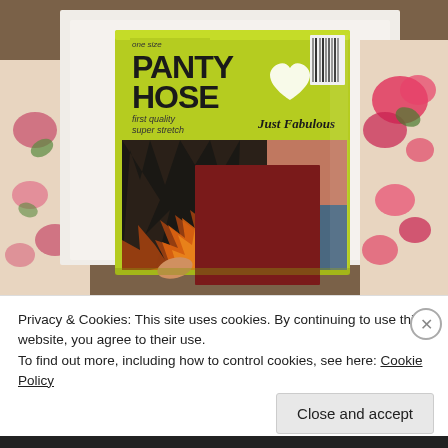[Figure (photo): Photo of a vintage pantyhose package with chartreuse/yellow-green packaging. Text on package reads 'one size PANTY HOSE first quality super stretch Just Fabulous' with a heart logo. Package shows a collage of lifestyle images including a fireplace. A dark red/maroon color swatch is visible on front. Package is surrounded by floral-patterned paper and white envelopes on a wooden surface.]
Privacy & Cookies: This site uses cookies. By continuing to use this website, you agree to their use.
To find out more, including how to control cookies, see here: Cookie Policy